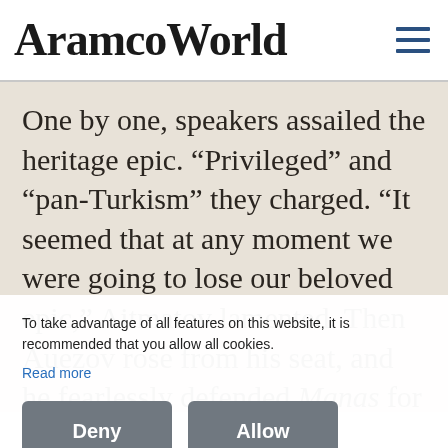AramcoWorld
One by one, speakers assailed the heritage epic. “Privileged” and “pan-Turkism” they charged. “It seemed that at any moment we were going to lose our beloved epic,” Aitmatov lamented. Then Auezov rose from his seat, and he fearlessly defended Manas for nothing less than its intense cultural power. “To take this epic away from the life of its people is like cutting
To take advantage of all features on this website, it is recommended that you allow all cookies.
Read more
Deny
Allow